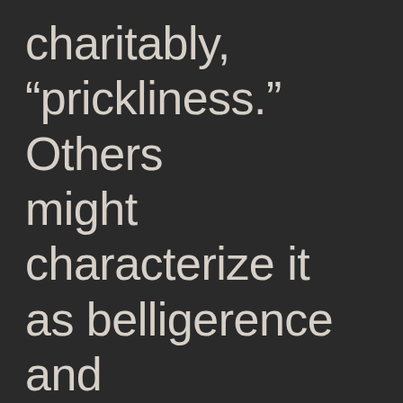charitably, “prickliness.” Others might characterize it as belligerence and anger. The targets of his rage include enemies of freedom, but also fellow travelers and